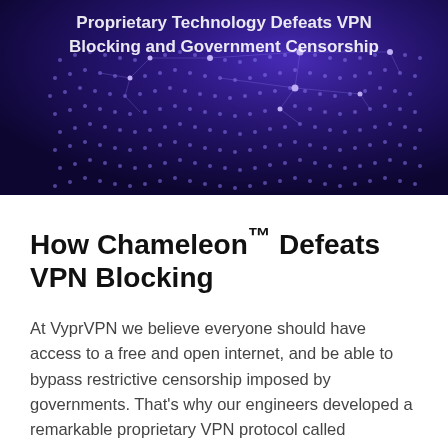[Figure (illustration): Dark blue/purple hero banner with a glowing digital world map made of dots and network lines, with white bold text reading 'Proprietary Technology Defeats VPN Blocking and Government Censorship']
How Chameleon™ Defeats VPN Blocking
At VyprVPN we believe everyone should have access to a free and open internet, and be able to bypass restrictive censorship imposed by governments. That's why our engineers developed a remarkable proprietary VPN protocol called